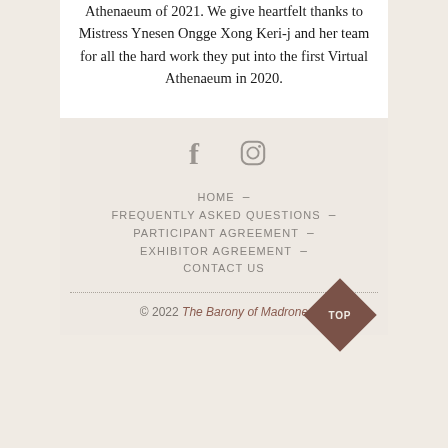Athenaeum of 2021. We give heartfelt thanks to Mistress Ynesen Ongge Xong Keri-j and her team for all the hard work they put into the first Virtual Athenaeum in 2020.
[Figure (other): Social media icons: Facebook (f) and Instagram (camera circle) icons in grey]
HOME –
FREQUENTLY ASKED QUESTIONS –
PARTICIPANT AGREEMENT –
EXHIBITOR AGREEMENT –
CONTACT US
© 2022 The Barony of Madrone